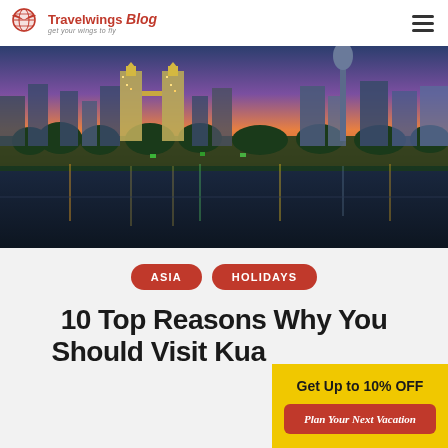Travelwings Blog - get your wings to fly
[Figure (photo): Night skyline of Kuala Lumpur with Petronas Twin Towers and KL Tower reflected in a lake, colorful city lights against a dusk sky]
ASIA
HOLIDAYS
10 Top Reasons Why You Should Visit Kua...
Get Up to 10% OFF
Plan Your Next Vacation